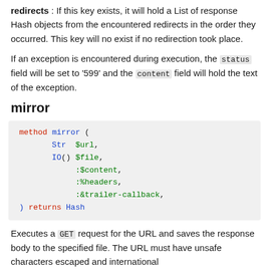redirects : If this key exists, it will hold a List of response Hash objects from the encountered redirects in the order they occurred. This key will no exist if no redirection took place.
If an exception is encountered during execution, the status field will be set to '599' and the content field will hold the text of the exception.
mirror
[Figure (other): Code block showing method signature: method mirror ( Str $url, IO() $file, :$content, :%headers, :&trailer-callback, ) returns Hash]
Executes a GET request for the URL and saves the response body to the specified file. The URL must have unsafe characters escaped and international